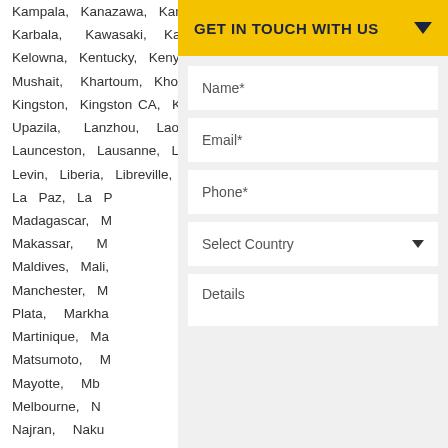Kampala, Kanazawa, Kano, Kansas, Karaj, Karbala, Kawasaki, Kawerau, Kazakhstan, Kelowna, Kentucky, Kenya, Kermanshah, Khamis Mushait, Khartoum, Khobar, Kigali, Kikuyu, Kingston, Kingston CA, Kinshasa, Lagos, Laksam Upazila, Lanzhou, Laos, Lapu Lapu, Latvia, Launceston, Lausanne, Lebanon, Lesotho, Leuven, Levin, Liberia, Libreville, Libya, Luxembourg City, La Paz, La P... Madagascar, M... Makassar, M... Maldives, Mali... Manchester, M... Plata, Markha... Martinique, Ma... Matsumoto, M... Mayotte, Mb... Melbourne, N... Najran, Naku... Nanjing, Nann... Narayanganj,... Netherlands, N...
[Figure (screenshot): GET IN TOUCH WITH US banner with yellow background and dark navy text, with a dropdown arrow]
Name*
Email*
Phone*
Select Country
Details